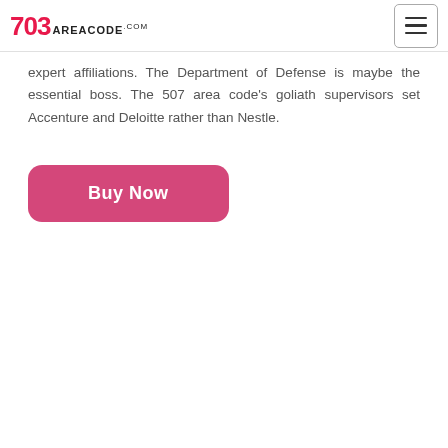703areacode.com
expert affiliations. The Department of Defense is maybe the essential boss. The 507 area code's goliath supervisors set Accenture and Deloitte rather than Nestle.
Buy Now